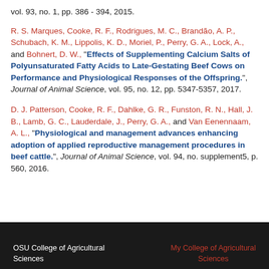vol. 93, no. 1, pp. 386 - 394, 2015.
R. S. Marques, Cooke, R. F., Rodrigues, M. C., Brandão, A. P., Schubach, K. M., Lippolis, K. D., Moriel, P., Perry, G. A., Lock, A., and Bohnert, D. W., "Effects of Supplementing Calcium Salts of Polyunsaturated Fatty Acids to Late-Gestating Beef Cows on Performance and Physiological Responses of the Offspring.", Journal of Animal Science, vol. 95, no. 12, pp. 5347-5357, 2017.
D. J. Patterson, Cooke, R. F., Dahlke, G. R., Funston, R. N., Hall, J. B., Lamb, G. C., Lauderdale, J., Perry, G. A., and Van Eenennaam, A. L., "Physiological and management advances enhancing adoption of applied reproductive management procedures in beef cattle.", Journal of Animal Science, vol. 94, no. supplement5, p. 560, 2016.
OSU College of Agricultural Sciences | My College of Agricultural Sciences